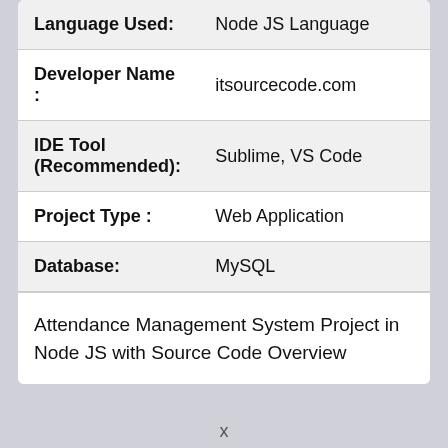| Field | Value |
| --- | --- |
| Language Used: | Node JS Language |
| Developer Name : | itsourcecode.com |
| IDE Tool (Recommended): | Sublime, VS Code |
| Project Type : | Web Application |
| Database: | MySQL |
Attendance Management System Project in Node JS with Source Code Overview